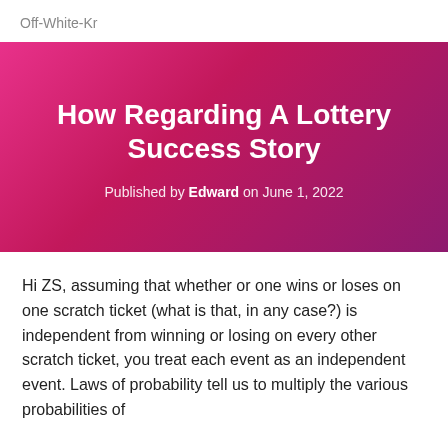Off-White-Kr
How Regarding A Lottery Success Story
Published by Edward on June 1, 2022
Hi ZS, assuming that whether or one wins or loses on one scratch ticket (what is that, in any case?) is independent from winning or losing on every other scratch ticket, you treat each event as an independent event. Laws of probability tell us to multiply the various probabilities of